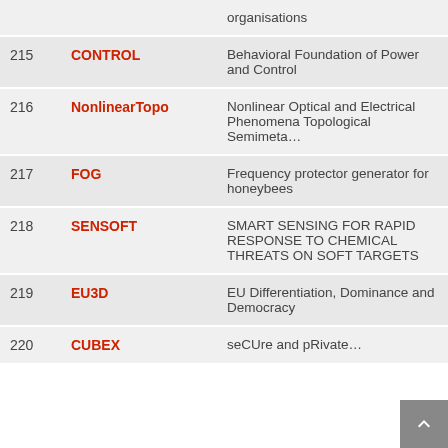| # | Acronym | Title |
| --- | --- | --- |
|  |  | organisations |
| 215 | CONTROL | Behavioral Foundation of Power and Control |
| 216 | NonlinearTopo | Nonlinear Optical and Electrical Phenomena Topological Semimeta… |
| 217 | FOG | Frequency protector generator for honeybees |
| 218 | SENSOFT | SMART SENSING FOR RAPID RESPONSE TO CHEMICAL THREATS ON SOFT TARGETS |
| 219 | EU3D | EU Differentiation, Dominance and Democracy |
| 220 | CUBEX | seCUre and pRivate… |